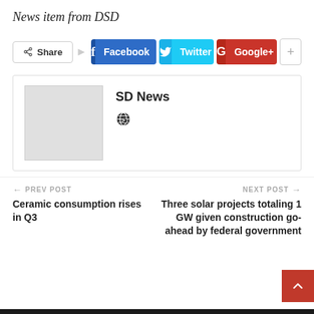News item from DSD
[Figure (infographic): Social share bar with Share button, Facebook, Twitter, Google+, and plus buttons]
[Figure (infographic): Author box with gray placeholder image, name SD News, and globe icon]
← PREV POST
Ceramic consumption rises in Q3
NEXT POST →
Three solar projects totaling 1 GW given construction go-ahead by federal government